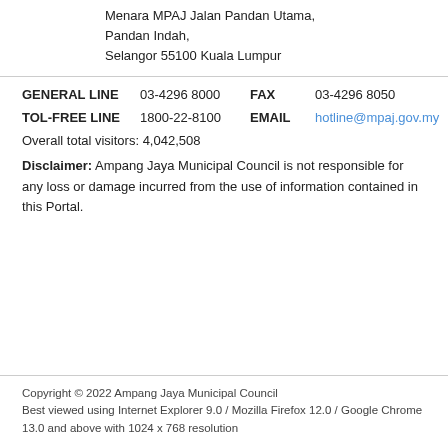Menara MPAJ Jalan Pandan Utama,
Pandan Indah,
Selangor 55100 Kuala Lumpur
GENERAL LINE   03-4296 8000   FAX   03-4296 8050
TOL-FREE LINE   1800-22-8100   EMAIL   hotline@mpaj.gov.my
Overall total visitors: 4,042,508
Disclaimer: Ampang Jaya Municipal Council is not responsible for any loss or damage incurred from the use of information contained in this Portal.
Copyright © 2022 Ampang Jaya Municipal Council
Best viewed using Internet Explorer 9.0 / Mozilla Firefox 12.0 / Google Chrome 13.0 and above with 1024 x 768 resolution